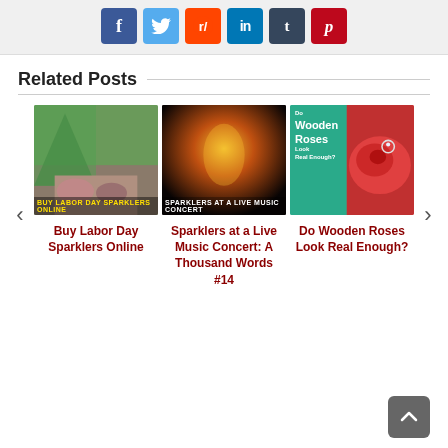[Figure (infographic): Social media share buttons: Facebook (dark blue), Twitter (light blue), Reddit (orange), LinkedIn (teal), Tumblr (dark navy), Pinterest (dark red)]
Related Posts
[Figure (photo): Photo of people camping, feet visible, inside tent, outdoors. Caption overlay: BUY LABOR DAY SPARKLERS ONLINE]
Buy Labor Day Sparklers Online
[Figure (photo): Photo of sparklers at a live music concert, stage lights, dark background. Caption overlay: sparklers at a Live Music Concert]
Sparklers at a Live Music Concert: A Thousand Words #14
[Figure (photo): Composite image: teal panel with text 'Do Wooden Roses Look Real Enough?' and red rose with diamond ring photo]
Do Wooden Roses Look Real Enough?